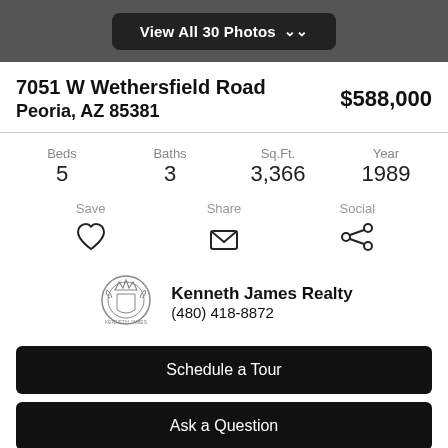View All 30 Photos
7051 W Wethersfield Road
Peoria, AZ 85381
$588,000
| Beds | Baths | Sq.Ft. | Year |
| --- | --- | --- | --- |
| 5 | 3 | 3,366 | 1989 |
Save
Share
Social
Kenneth James Realty
(480) 418-8872
Schedule a Tour
Ask a Question
Status   Pending